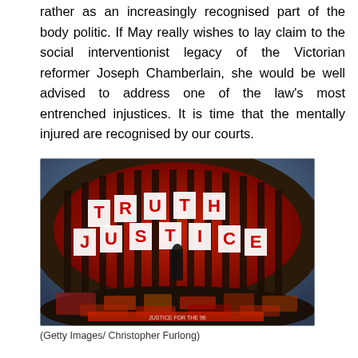rather as an increasingly recognised part of the body politic. If May really wishes to lay claim to the social interventionist legacy of the Victorian reformer Joseph Chamberlain, she would be well advised to address one of the law's most entrenched injustices. It is time that the mentally injured are recognised by our courts.
[Figure (photo): Fisheye lens photograph of a large columned building illuminated in red, with banners reading TRUTH and JUSTICE between the columns, a statue in the foreground, and flowers and tributes laid at the base. Hillsborough memorial scene.]
(Getty Images/ Christopher Furlong)